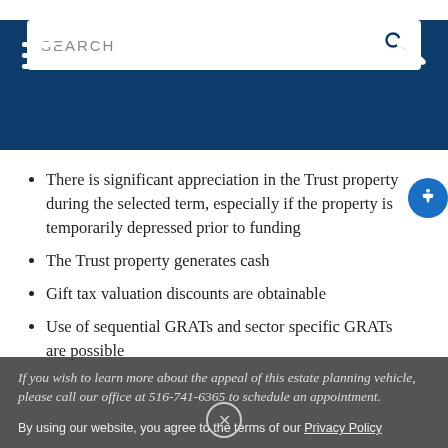Navigation header with hamburger menu, search bar, and phone icon
There is significant appreciation in the Trust property during the selected term, especially if the property is temporarily depressed prior to funding
The Trust property generates cash
Gift tax valuation discounts are obtainable
Use of sequential GRATs and sector specific GRATs are possible
If you wish to learn more about the appeal of this estate planning vehicle, please call our office at 516-741-6365 to schedule an appointment.
By using our website, you agree to the terms of our Privacy Policy